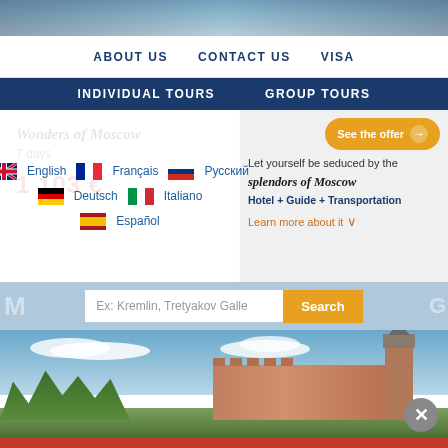[Figure (photo): Top strip showing a travel/cityscape photo (partially visible, sky and architecture)]
ABOUT US   CONTACT US   VISA
INDIVIDUAL TOURS   GROUP TOURS
Wonders of Moscow
7 days
1 103 €
[Figure (screenshot): Language selector overlay with flags: English (UK flag), Français (French flag), Русский (Russian flag), Deutsch (German flag), Italiano (Italian flag), Español (Spanish flag)]
See the offer →
Let yourself be seduced by the splendors of Moscow
Hotel + Guide + Transportation
Learn more about it ∨
[Figure (screenshot): Search bar with placeholder 'Ex: Kremlin, Tretyakov Galle' and orange Search button, with background text]
[Figure (photo): Landscape photo of a Russian fortress/kremlin wall with tower, green trees and blue sky]
By using this website you agree to the use of cookies. By using this website you also fully agree to tsarvisit.com terms and conditions as published in the document "Terms and Conditions"